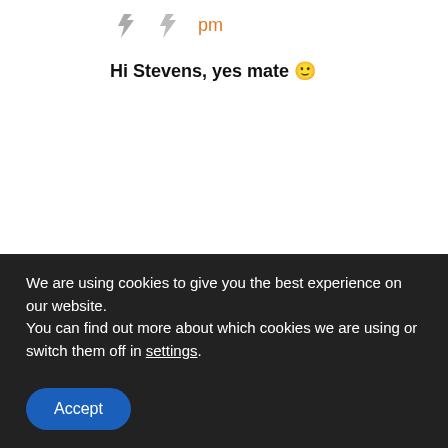pm
Hi Stevens, yes mate 🙂
2.
Andrea Wilson Woods on July 11, 2018 at 9:00 pm
Hey John,
There was no option to enter your coupon code 'GoKartra' when I went to check out.
We are using cookies to give you the best experience on our website.
You can find out more about which cookies we are using or switch them off in settings.